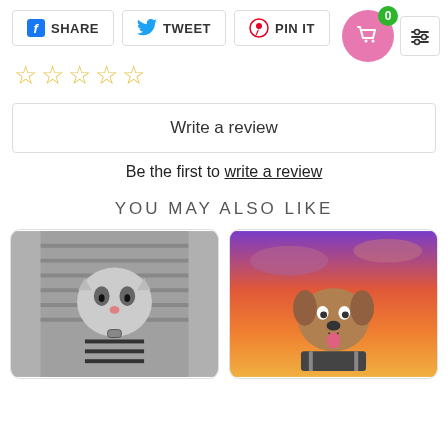[Figure (screenshot): Social share buttons: Facebook SHARE, Twitter TWEET, Pinterest PIN IT, with cart and filter icons in top right]
[Figure (other): Five empty star rating icons in gold/yellow outline]
Write a review
Be the first to write a review
YOU MAY ALSO LIKE
[Figure (photo): Product image: a blanket or flag with a black-and-white photo of a cat in a mugshot-style pose wearing striped prisoner outfit]
[Figure (photo): Product image: a blanket or flag with a colorful sunset photo of a dog dressed as a biker/motorcyclist]